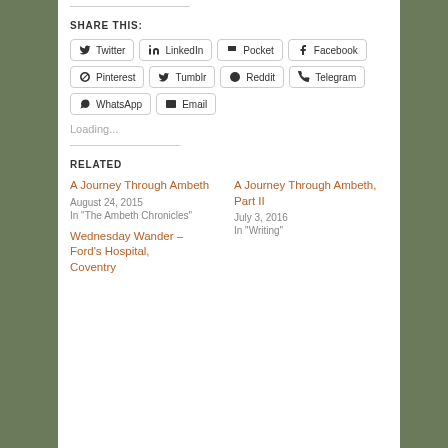SHARE THIS:
Twitter  LinkedIn  Pocket  Facebook  Pinterest  Tumblr  Reddit  Telegram  WhatsApp  Email
Loading...
RELATED
A Journey Through Ambeth
August 24, 2015
In "The Ambeth Chronicles"
A Journey Through Ambeth, Part II
July 3, 2016
In "Writing"
Wednesday Wander – Ford's Hospital, Coventry